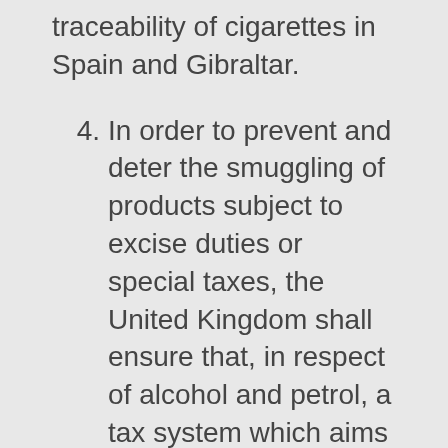traceability of cigarettes in Spain and Gibraltar.
4. In order to prevent and deter the smuggling of products subject to excise duties or special taxes, the United Kingdom shall ensure that, in respect of alcohol and petrol, a tax system which aims at preventing fraudulent activities involving those products is in force in Gibraltar.
Spain and the United Kingdom shall establish a coordinating committee